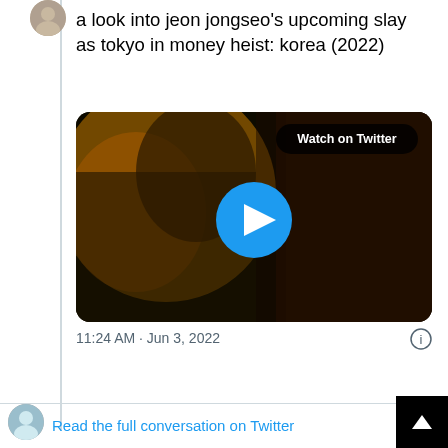[Figure (screenshot): Twitter/X screenshot of a tweet with text about jeon jongseo's upcoming role as Tokyo in Money Heist: Korea (2022), showing a video thumbnail with a play button and Watch on Twitter badge, timestamp 11:24 AM · Jun 3, 2022, and a 'Read the full conversation on Twitter' link at the bottom.]